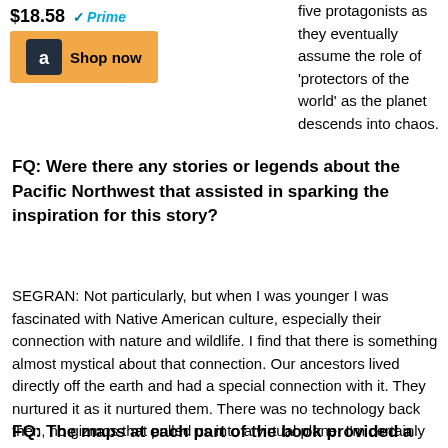[Figure (other): Amazon shop widget showing price $18.58 with Prime badge and Shop now button with Amazon logo]
five protagonists as they eventually assume the role of 'protectors of the world' as the planet descends into chaos.
FQ: Were there any stories or legends about the Pacific Northwest that assisted in sparking the inspiration for this story?
SEGRAN: Not particularly, but when I was younger I was fascinated with Native American culture, especially their connection with nature and wildlife. I find that there is something almost mystical about that connection. Our ancestors lived directly off the earth and had a special connection with it. They nurtured it as it nurtured them. There was no technology back then, no gizmos that pulled us into a virtual plane. I'm certainly not complaining about technology - I'm quite a frequent user of it! But that idea of going back to the roots of our humanity, if you will, to what surrounds us, is what intrigues me and prompted me to use it as a main setting for Aegis Rising.
FQ: The maps at each part of the book provided a great